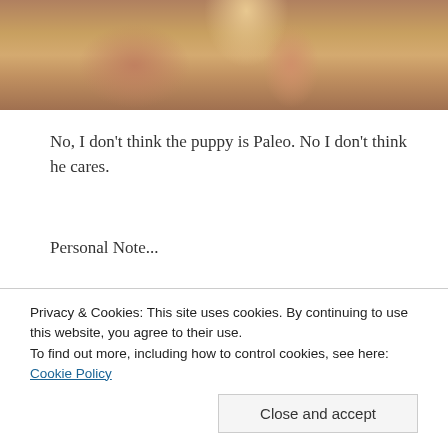[Figure (photo): Close-up photo of a hand holding an ice cream cone, showing the waffle cone and fingers against a grey background]
No, I don't think the puppy is Paleo. No I don't think he cares.
Personal Note...
Current weight: 209
Privacy & Cookies: This site uses cookies. By continuing to use this website, you agree to their use.
To find out more, including how to control cookies, see here: Cookie Policy
Close and accept